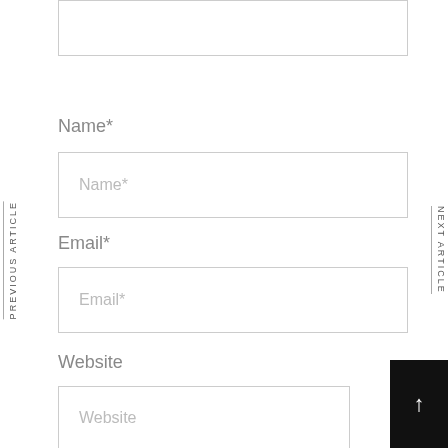[Figure (screenshot): Partial comment textarea box at top of page, cut off]
PREVIOUS ARTICLE
NEXT ARTICLE
Name*
Name*
Email*
Email*
Website
Website